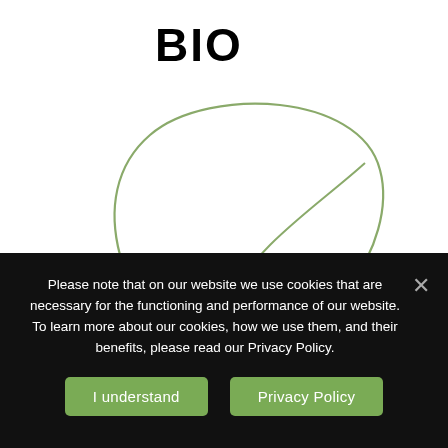BIO
[Figure (illustration): A minimalist line drawing of a leaf outline in sage/olive green, with a central vein line, on a white background.]
Please note that on our website we use cookies that are necessary for the functioning and performance of our website. To learn more about our cookies, how we use them, and their benefits, please read our Privacy Policy.
I understand
Privacy Policy